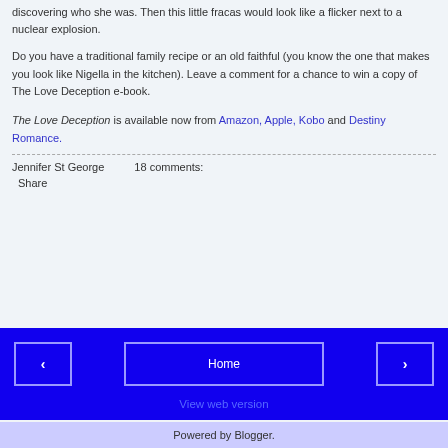discovering who she was. Then this little fracas would look like a flicker next to a nuclear explosion.
Do you have a traditional family recipe or an old faithful (you know the one that makes you look like Nigella in the kitchen). Leave a comment for a chance to win a copy of The Love Deception e-book.
The Love Deception is available now from Amazon, Apple, Kobo and Destiny Romance.
Jennifer St George    18 comments:
Share
Home | View web version | Powered by Blogger.